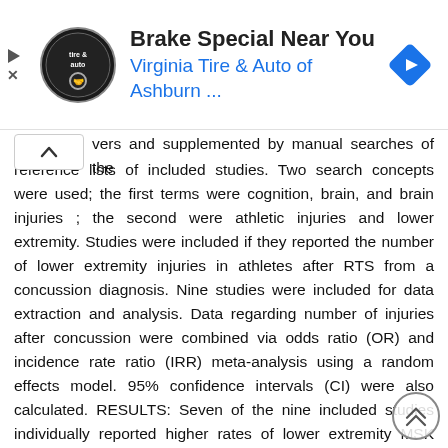[Figure (screenshot): Advertisement banner for Virginia Tire & Auto of Ashburn showing logo, title 'Brake Special Near You', subtitle 'Virginia Tire & Auto of Ashburn ...', and navigation arrow icon]
vers and supplemented by manual searches of the reference lists of included studies. Two search concepts were used; the first terms were cognition, brain, and brain injuries ; the second were athletic injuries and lower extremity. Studies were included if they reported the number of lower extremity injuries in athletes after RTS from a concussion diagnosis. Nine studies were included for data extraction and analysis. Data regarding number of injuries after concussion were combined via odds ratio (OR) and incidence rate ratio (IRR) meta-analysis using a random effects model. 95% confidence intervals (CI) were also calculated. RESULTS: Seven of the nine included studies individually reported higher rates of lower extremity MSK injury after concussion, while two reported no significant difference in injury risk between concussed athletes and non-concussed control athletes. Results of the meta-analysis show that athletes who suffered a